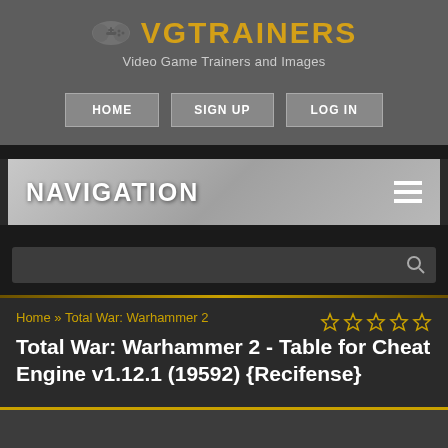VGTRAINERS - Video Game Trainers and Images
NAVIGATION
Home » Total War: Warhammer 2
Total War: Warhammer 2 - Table for Cheat Engine v1.12.1 (19592) {Recifense}